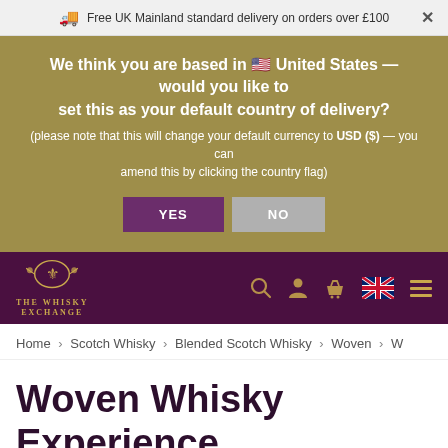Free UK Mainland standard delivery on orders over £100
We think you are based in 🇺🇸 United States — would you like to set this as your default country of delivery? (please note that this will change your default currency to USD ($) — you can amend this by clicking the country flag)
[Figure (screenshot): YES and NO buttons for country/currency selection]
[Figure (logo): The Whisky Exchange logo with crest and navigation icons including search, account, basket, UK flag, and hamburger menu]
Home › Scotch Whisky › Blended Scotch Whisky › Woven › W
Woven Whisky Experience N.5
Blended Scotch Whisky